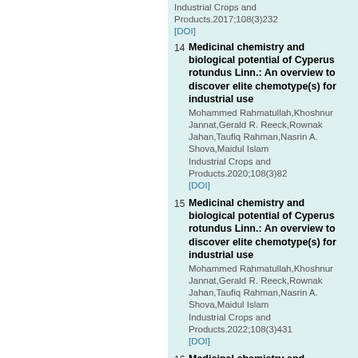Industrial Crops and Products.2017;108(3)232
[DOI]
14. Medicinal chemistry and biological potential of Cyperus rotundus Linn.: An overview to discover elite chemotype(s) for industrial use. Mohammed Rahmatullah,Khoshnur Jannat,Gerald R. Reeck,Rownak Jahan,Taufiq Rahman,Nasrin A. Shova,Maidul Islam. Industrial Crops and Products.2020;108(3)82. [DOI]
15. Medicinal chemistry and biological potential of Cyperus rotundus Linn.: An overview to discover elite chemotype(s) for industrial use. Mohammed Rahmatullah,Khoshnur Jannat,Gerald R. Reeck,Rownak Jahan,Taufiq Rahman,Nasrin A. Shova,Maidul Islam. Industrial Crops and Products.2022;108(3)431. [DOI]
16. Medicinal chemistry and biological potential of Cyperus rotundus Linn.: An overview to discover elite chemotype(s) for industrial use.